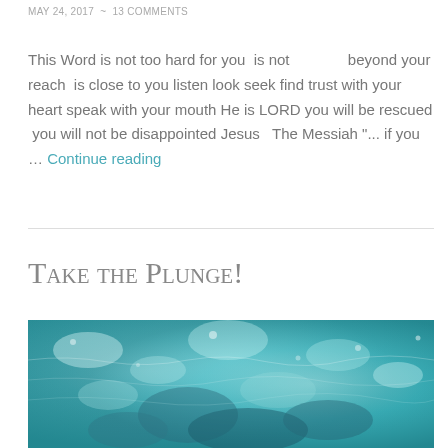MAY 24, 2017  ~  13 COMMENTS
This Word is not too hard for you  is not              beyond your reach  is close to you listen look seek find trust with your heart speak with your mouth He is LORD you will be rescued  you will not be disappointed Jesus  The Messiah "... if you … Continue reading
Take the Plunge!
[Figure (photo): Underwater or pool water surface photo showing turquoise and teal water with light patterns and submerged rocks visible.]